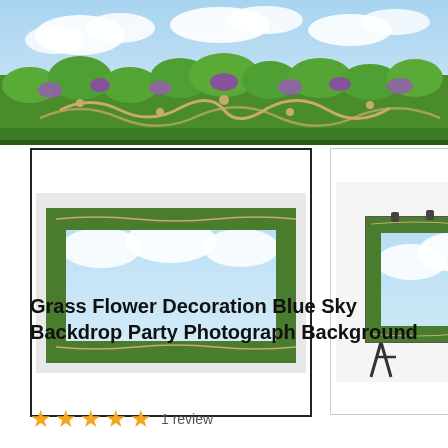[Figure (photo): Wide banner photo showing decorative garden backdrop with purple flowers, green foliage, and ornamental gold scrollwork against a blue sky with clouds.]
[Figure (photo): Thumbnail image 1: decorative blue sky backdrop with green and gold ornamental border, shown flat. Displayed with a bold black border frame.]
[Figure (photo): Thumbnail image 2: same decorative blue sky backdrop mounted on a photography stand/frame.]
Grass Flower Decoration Blue Sky Backdrop Party Photograph Background
1 review